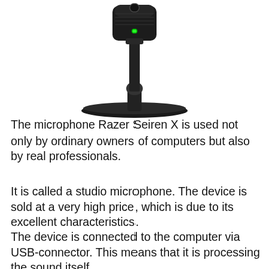[Figure (photo): A Razer Seiren X studio microphone on a black stand/base, with a green LED indicator light visible on the front of the microphone capsule, photographed against a white background.]
The microphone Razer Seiren X is used not only by ordinary owners of computers but also by real professionals.
It is called a studio microphone. The device is sold at a very high price, which is due to its excellent characteristics.
The device is connected to the computer via USB-connector. This means that it is processing the sound itself.